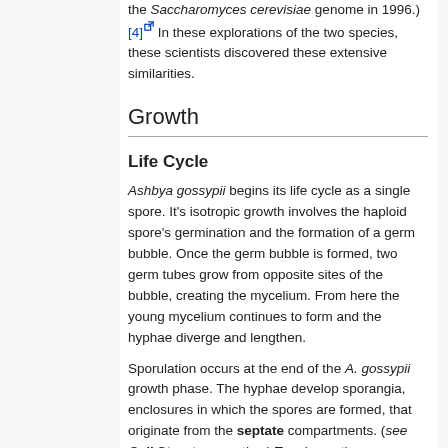the Saccharomyces cerevisiae genome in 1996.)[4] In these explorations of the two species, these scientists discovered these extensive similarities.
Growth
Life Cycle
Ashbya gossypii begins its life cycle as a single spore. It's isotropic growth involves the haploid spore's germination and the formation of a germ bubble. Once the germ bubble is formed, two germ tubes grow from opposite sites of the bubble, creating the mycelium. From here the young mycelium continues to form and the hyphae diverge and lengthen.
Sporulation occurs at the end of the A. gossypii growth phase. The hyphae develop sporangia, enclosures in which the spores are formed, that originate from the septate compartments. (see Cell Structure section.) To release the spores,